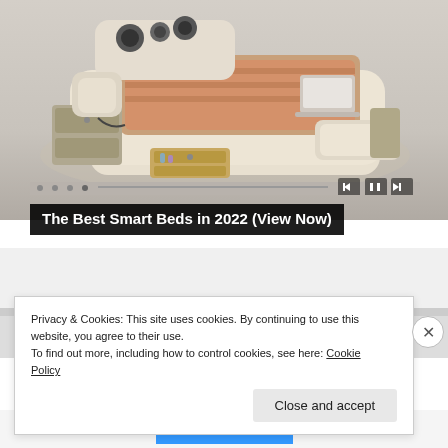[Figure (photo): A high-tech smart bed with cream leather upholstery, built-in storage drawers, massage chair, speakers, and laptop stand, shown in an isometric product photo against a light gray gradient background. Media player controls (previous, pause, next) and a progress bar are visible at the bottom of the image.]
The Best Smart Beds in 2022 (View Now)
Privacy & Cookies: This site uses cookies. By continuing to use this website, you agree to their use.
To find out more, including how to control cookies, see here: Cookie Policy
Close and accept